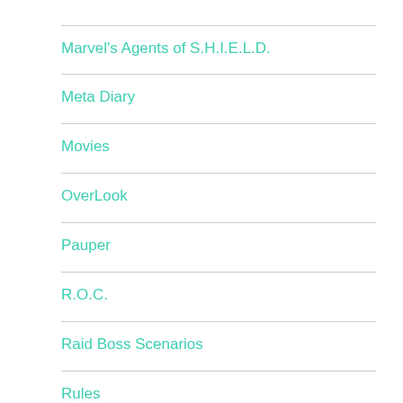Marvel's Agents of S.H.I.E.L.D.
Meta Diary
Movies
OverLook
Pauper
R.O.C.
Raid Boss Scenarios
Rules